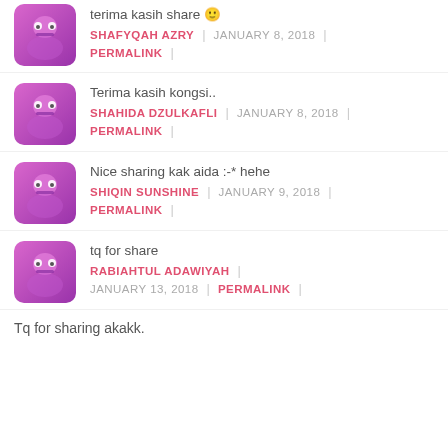terima kasih share 🙂
SHAFYQAH AZRY | JANUARY 8, 2018 | PERMALINK |
Terima kasih kongsi..
SHAHIDA DZULKAFLI | JANUARY 8, 2018 | PERMALINK |
Nice sharing kak aida :-* hehe
SHIQIN SUNSHINE | JANUARY 9, 2018 | PERMALINK |
tq for share
RABIAHTUL ADAWIYAH | JANUARY 13, 2018 | PERMALINK |
Tq for sharing akakk.